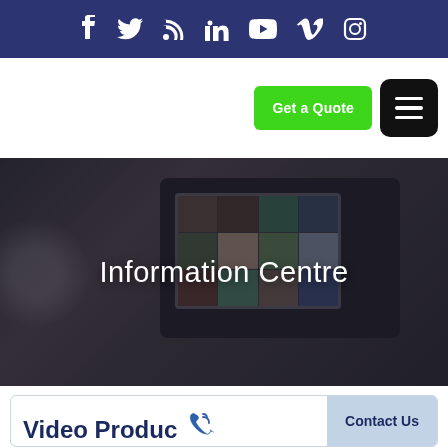Social media icons: Facebook, Twitter, RSS, LinkedIn, YouTube, Vimeo, Instagram
[Figure (screenshot): Green 'Get a Quote' button and black hamburger menu button in the site navigation area]
[Figure (photo): Blurred background photo of a video camera with a monitor screen showing a video grid; overlay text reads 'Information Centre']
Information Centre
Video Produc…
Contact Us